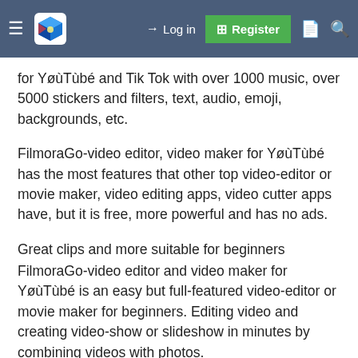Log in  Register
for YouTube and Tik Tok with over 1000 music, over 5000 stickers and filters, text, audio, emoji, backgrounds, etc.
FilmoraGo-video editor, video maker for YøùTùbé has the most features that other top video-editor or movie maker, video editing apps, video cutter apps have, but it is free, more powerful and has no ads.
Great clips and more suitable for beginners
FilmoraGo-video editor and video maker for YøùTùbé is an easy but full-featured video-editor or movie maker for beginners. Editing video and creating video-show or slideshow in minutes by combining videos with photos.
Over 1000 music
– This free video editor and free movie maker has over